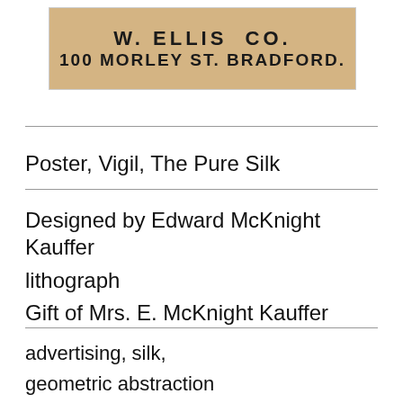[Figure (illustration): A beige/tan rectangular banner with bold black sans-serif text reading 'W. ELLIS CO.' on the first line and '100 MORLEY ST. BRADFORD.' on the second line.]
Poster, Vigil, The Pure Silk
Designed by Edward McKnight Kauffer
lithograph
Gift of Mrs. E. McKnight Kauffer
advertising, silk,

geometric abstraction